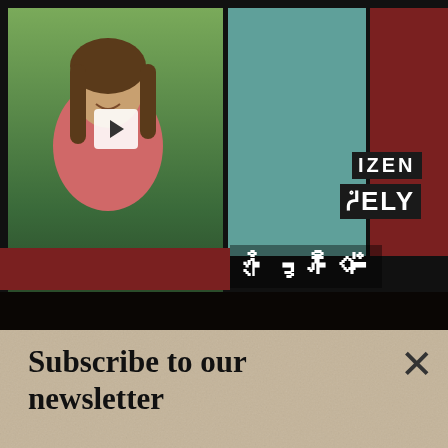[Figure (screenshot): Top banner showing a video thumbnail with a person in a pink shirt against a garden background with a play button overlay, alongside teal and maroon graphic blocks with overlaid text reading 'IZEN', 'CELY', and stylized characters]
[Figure (screenshot): Newsletter subscription popup with sandy/beige textured background, headline 'Subscribe to our newsletter', email input field with 'Your e-mail address' placeholder, 'SIGN UP' button, and a close X in upper right]
'Josie'
Although the bass line for 'Josie' might look simple
[Figure (screenshot): BitLife advertisement banner with red background, emoji characters (devil, woman, angel with halo) on left, squiggly line and pill shape, and BitLife logo text with 'REAL CHOICES' on dark background on right]